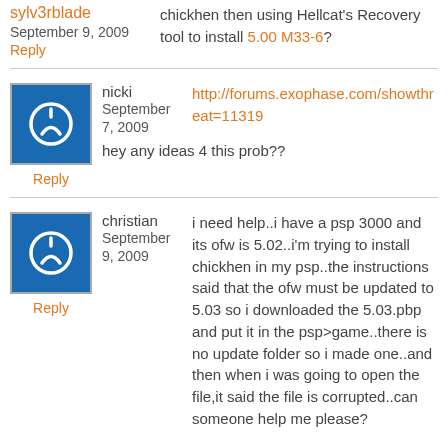sylv3rblade
September 9, 2009
Reply
chickhen then using Hellcat's Recovery tool to install 5.00 M33-6?
nicki
September 7, 2009
Reply
http://forums.exophase.com/showthread=11319
hey any ideas 4 this prob??
christian
September 9, 2009
Reply
i need help..i have a psp 3000 and its ofw is 5.02..i'm trying to install chickhen in my psp..the instructions said that the ofw must be updated to 5.03 so i downloaded the 5.03.pbp and put it in the psp>game..there is no update folder so i made one..and then when i was going to open the file,it said the file is corrupted..can someone help me please?